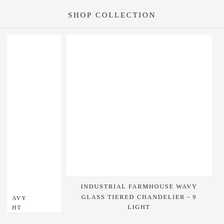SHOP COLLECTION
[Figure (photo): Partial product card on left side, image area cropped]
[Figure (photo): Product image area for Industrial Farmhouse Wavy Glass Tiered Chandelier - 9 Light, white/blank image placeholder]
AVY
HT
INDUSTRIAL FARMHOUSE WAVY GLASS TIERED CHANDELIER - 9 LIGHT